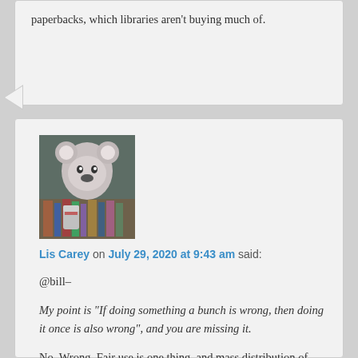paperbacks, which libraries aren't buying much of.
Lis Carey on July 29, 2020 at 9:43 am said:
[Figure (photo): Avatar photo of a stuffed koala bear next to a can and some books, on a bookshelf background]
@bill–
My point is "If doing something a bunch is wrong, then doing it once is also wrong", and you are missing it.
No. Wrong. Fair use is one thing, and mass distribution of copies to anyone who asks is another thing, completely outside of fair use.
Fair use, by the way, is a real legal concept in copyright law, one of the things publishers would like to kill. Insist that any sharing or copying of